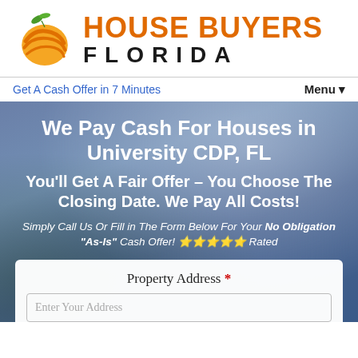[Figure (logo): House Buyers Florida logo: orange circle with swirl lines and green leaf on top, with bold orange text 'HOUSE BUYERS' and black text 'FLORIDA' in spaced letters]
Get A Cash Offer in 7 Minutes
Menu ▼
We Pay Cash For Houses in University CDP, FL
You'll Get A Fair Offer – You Choose The Closing Date. We Pay All Costs!
Simply Call Us Or Fill in The Form Below For Your No Obligation "As-Is" Cash Offer! ⭐⭐⭐⭐⭐ Rated
Property Address *
Enter Your Address